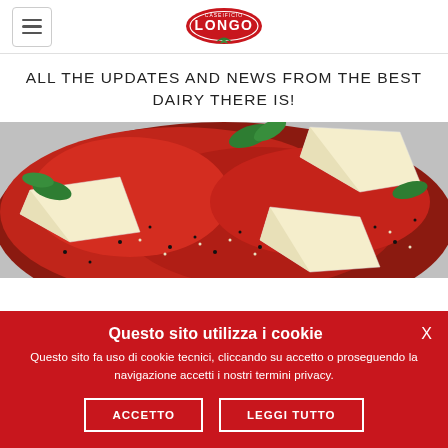Caseificio Longo — navigation header with logo
ALL THE UPDATES AND NEWS FROM THE BEST DAIRY THERE IS!
[Figure (photo): Close-up food photograph showing carpaccio-style red meat or tomato dish topped with sesame seeds, wedges of white cheese (likely mozzarella), and fresh basil leaves.]
Questo sito utilizza i cookie
Questo sito fa uso di cookie tecnici, cliccando su accetto o proseguendo la navigazione accetti i nostri termini privacy.
ACCETTO
LEGGI TUTTO